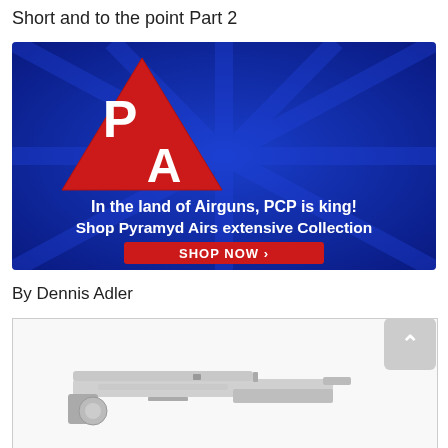Short and to the point Part 2
[Figure (illustration): Pyramyd Air advertisement banner on blue background with PA logo triangle, text 'In the land of Airguns, PCP is king! Shop Pyramyd Airs extensive Collection' and a red SHOP NOW button]
By Dennis Adler
[Figure (photo): Partial photo of a silver/chrome airgun or pistol on white background]